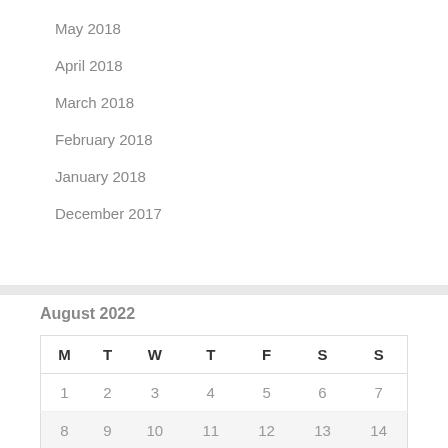May 2018
April 2018
March 2018
February 2018
January 2018
December 2017
August 2022
| M | T | W | T | F | S | S |
| --- | --- | --- | --- | --- | --- | --- |
| 1 | 2 | 3 | 4 | 5 | 6 | 7 |
| 8 | 9 | 10 | 11 | 12 | 13 | 14 |